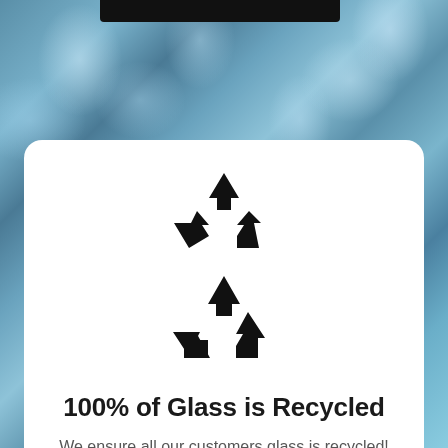[Figure (photo): Background photo of glass bottles/jars in shades of blue and teal, with a dark header bar overlaid at the top center]
[Figure (illustration): Black recycling symbol (three chasing arrows in a triangle) centered on white card]
100% of Glass is Recycled
We ensure all our customers glass is recycled! We are very proud top be working with O-I in Alloa & Viridor in Motherwell. Your old glass bottle or jar could be back on the shelves as a